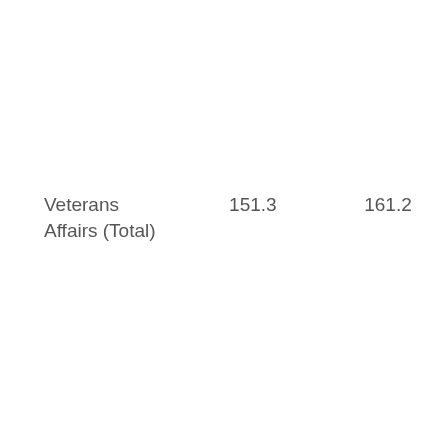|  |  |  |
| --- | --- | --- |
| Veterans Affairs (Total) | 151.3 | 161.2 |